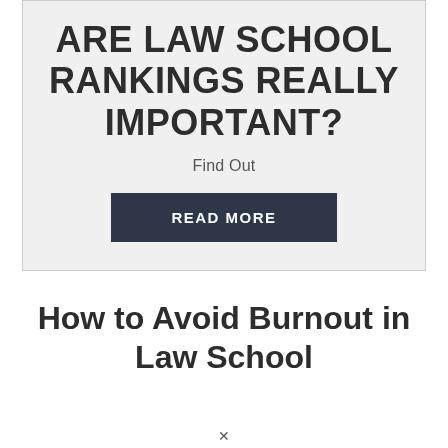ARE LAW SCHOOL RANKINGS REALLY IMPORTANT?
Find Out
READ MORE
How to Avoid Burnout in Law School